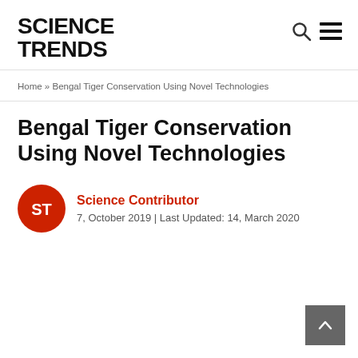SCIENCE TRENDS
Home » Bengal Tiger Conservation Using Novel Technologies
Bengal Tiger Conservation Using Novel Technologies
Science Contributor
7, October 2019 | Last Updated: 14, March 2020